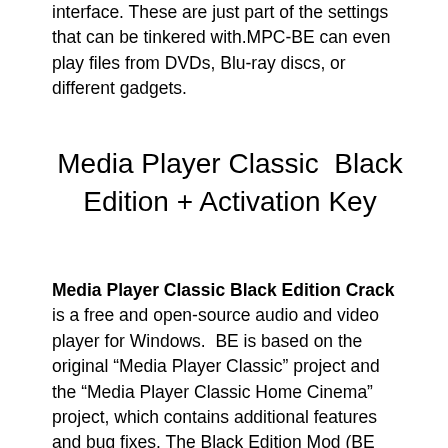interface. These are just part of the settings that can be tinkered with.MPC-BE can even play files from DVDs, Blu-ray discs, or different gadgets.
Media Player Classic  Black Edition + Activation Key
Media Player Classic Black Edition Crack is a free and open-source audio and video player for Windows.  BE is based on the original “Media Player Classic” project and the “Media Player Classic Home Cinema” project, which contains additional features and bug fixes. The Black Edition Mod (BE mod) is a skinned version of Media Player Classic Home Cinema, much better looking than the plain old Media Player Classic, and